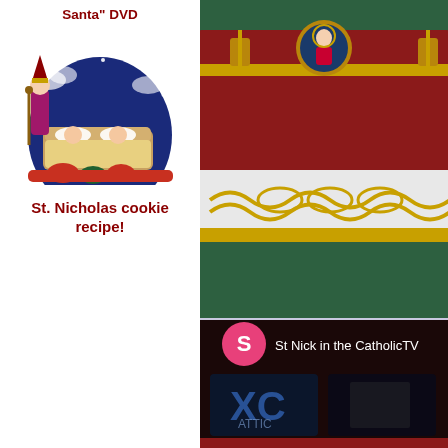Santa" DVD
[Figure (illustration): St. Nicholas cookie recipe illustration showing a decorative scene with a figure in bishop's garb and sleeping children under a starry blue arch]
St. Nicholas cookie recipe!
[Figure (photo): Close-up photo of an ornate bishop's crown/mitre with red velvet, gold embroidery, and white band with gold decorative pattern, resting on green velvet]
[Figure (screenshot): Dark screenshot of CatholicTV showing logo screens. Pink circle with S icon and text 'St Nick in the CatholicTV' header above dark TV display showing XC/Catholic TV logos on screens]